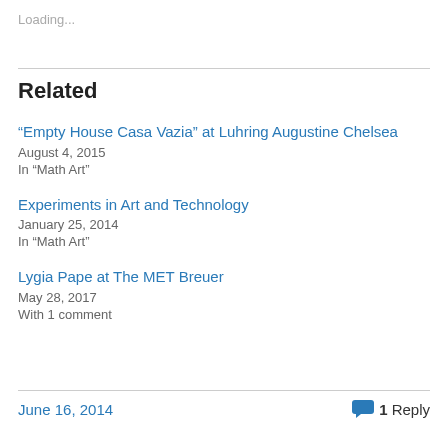Loading...
Related
“Empty House Casa Vazia” at Luhring Augustine Chelsea
August 4, 2015
In “Math Art”
Experiments in Art and Technology
January 25, 2014
In “Math Art”
Lygia Pape at The MET Breuer
May 28, 2017
With 1 comment
June 16, 2014   1 Reply